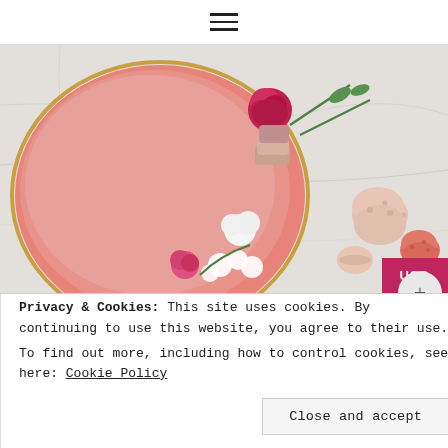☰ (hamburger menu icon)
[Figure (photo): Top-down view of a pink heart-shaped cake decorated with red and pink roses, white flowers, macarons, and greenery on a marble surface. Additional macarons (pink and coral) scattered nearby.]
USD
[Figure (photo): Partial thumbnail image showing flowers and decorations, partially obscured by cookie banner.]
Privacy & Cookies: This site uses cookies. By continuing to use this website, you agree to their use.
To find out more, including how to control cookies, see here: Cookie Policy
Close and accept